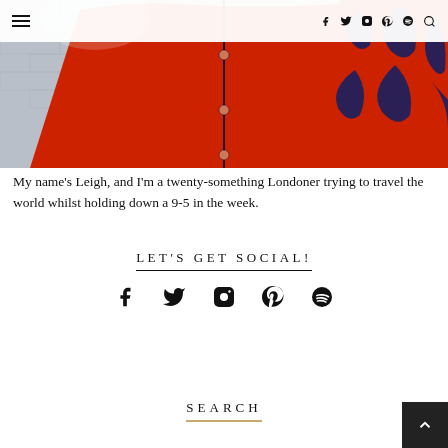Navigation bar with hamburger menu and social icons (Facebook, Twitter, Instagram, Pinterest, Spotify, Search)
[Figure (photo): Close-up photo of a red buttoned shirt/blouse against a grey brick wall background, with a patterned sleeve visible on the right]
My name's Leigh, and I'm a twenty-something Londoner trying to travel the world whilst holding down a 9-5 in the week.
LET'S GET SOCIAL!
[Figure (infographic): Row of social media icons: Facebook, Twitter, Instagram, Pinterest, Spotify]
SEARCH